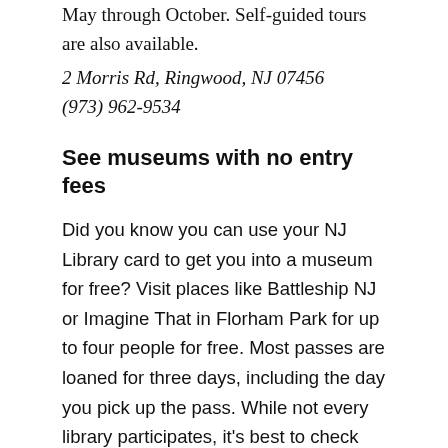May through October. Self-guided tours are also available.
2 Morris Rd, Ringwood, NJ 07456
(973) 962-9534
See museums with no entry fees
Did you know you can use your NJ Library card to get you into a museum for free? Visit places like Battleship NJ or Imagine That in Florham Park for up to four people for free. Most passes are loaned for three days, including the day you pick up the pass. While not every library participates, it's best to check with yours to see if they do (here's what they offer at the Ocean County Library). Another way to visit museums for nothing? If your bank is Bank of